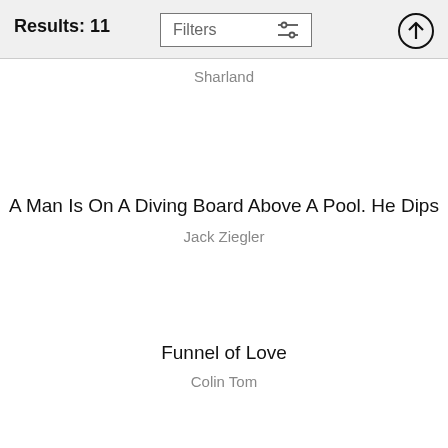Results: 11
Filters
Sharland
A Man Is On A Diving Board Above A Pool. He Dips
Jack Ziegler
Funnel of Love
Colin Tom